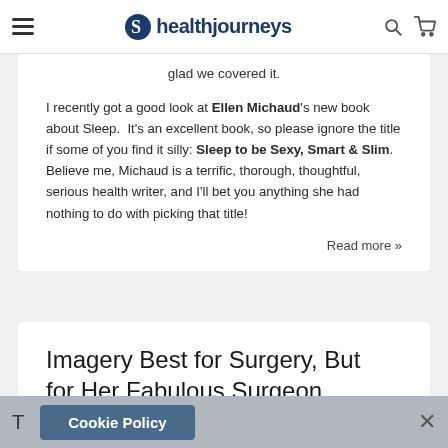healthjourneys
glad we covered it.
I recently got a good look at Ellen Michaud's new book about Sleep. It's an excellent book, so please ignore the title if some of you find it silly: Sleep to be Sexy, Smart & Slim. Believe me, Michaud is a terrific, thorough, thoughtful, serious health writer, and I'll bet you anything she had nothing to do with picking that title!
Read more »
Imagery Best for Surgery, But for Her Fabulous Surgeon
Cookie Policy